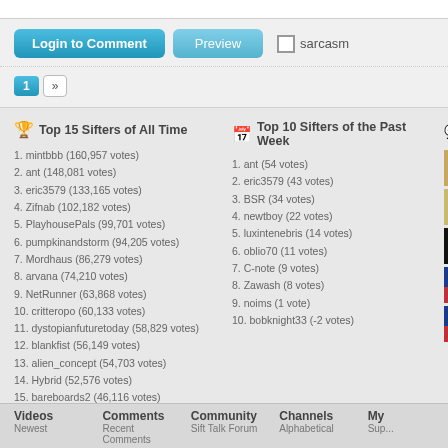[Figure (screenshot): Top white bar portion of web page]
Login to Comment | Preview | sarcasm (checkbox)
Pagination: 1 »
Top 15 Sifters of All Time
1. mintbbb (160,957 votes)
2. ant (148,081 votes)
3. eric3579 (133,165 votes)
4. Zifnab (102,182 votes)
5. PlayhousePals (99,701 votes)
6. pumpkinandstorm (94,205 votes)
7. Mordhaus (86,279 votes)
8. arvana (74,210 votes)
9. NetRunner (63,868 votes)
10. critteropo (60,133 votes)
11. dystopianfuturetoday (58,829 votes)
12. blankfist (56,149 votes)
13. alien_concept (54,703 votes)
14. Hybrid (52,576 votes)
15. bareboards2 (46,116 votes)
Top 10 Sifters of the Past Week
1. ant (54 votes)
2. eric3579 (43 votes)
3. BSR (34 votes)
4. newtboy (22 votes)
5. luxintenebris (14 votes)
6. oblio70 (11 votes)
7. C-note (9 votes)
8. Zawash (8 votes)
9. noims (1 vote)
10. bobknight33 (-2 votes)
Top R...
[Figure (photo): Cat/animal thumbnail 1]
[Figure (photo): Cat/animal thumbnail 2]
[Figure (photo): Badge/logo thumbnail]
[Figure (photo): Masked face thumbnail 1]
[Figure (photo): Masked face thumbnail 2]
Videos  Comments  Community  Channels  My...
Newest  Recent Comments  Sift Talk Forum  Alphabetical  Sup...